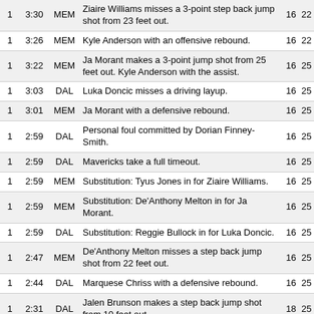|  |  |  |  |  |  |
| --- | --- | --- | --- | --- | --- |
| 1 | 3:30 | MEM | Ziaire Williams misses a 3-point step back jump shot from 23 feet out. | 16 | 22 |
| 1 | 3:26 | MEM | Kyle Anderson with an offensive rebound. | 16 | 22 |
| 1 | 3:22 | MEM | Ja Morant makes a 3-point jump shot from 25 feet out. Kyle Anderson with the assist. | 16 | 25 |
| 1 | 3:03 | DAL | Luka Doncic misses a driving layup. | 16 | 25 |
| 1 | 3:01 | MEM | Ja Morant with a defensive rebound. | 16 | 25 |
| 1 | 2:59 | DAL | Personal foul committed by Dorian Finney-Smith. | 16 | 25 |
| 1 | 2:59 | DAL | Mavericks take a full timeout. | 16 | 25 |
| 1 | 2:59 | MEM | Substitution: Tyus Jones in for Ziaire Williams. | 16 | 25 |
| 1 | 2:59 | MEM | Substitution: De'Anthony Melton in for Ja Morant. | 16 | 25 |
| 1 | 2:59 | DAL | Substitution: Reggie Bullock in for Luka Doncic. | 16 | 25 |
| 1 | 2:47 | MEM | De'Anthony Melton misses a step back jump shot from 22 feet out. | 16 | 25 |
| 1 | 2:44 | DAL | Marquese Chriss with a defensive rebound. | 16 | 25 |
| 1 | 2:31 | DAL | Jalen Brunson makes a step back jump shot from 10 feet out. | 18 | 25 |
| 1 | 2:12 | MEM | Tyus Jones misses a jump shot from 14 feet out. | 18 | 25 |
| 1 | 2:09 | MEM | Steven Adams with an offensive rebound. | 18 | 25 |